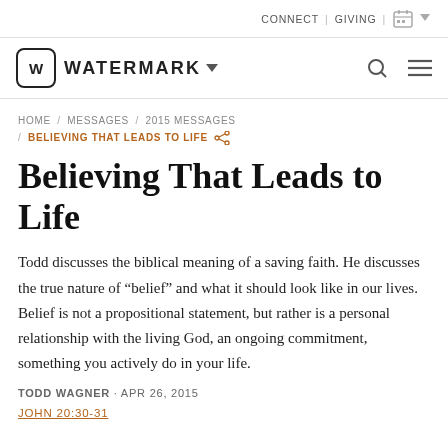CONNECT | GIVING |
[Figure (logo): Watermark Community Church logo with W in rounded square, brand name WATERMARK with dropdown arrow, search icon, and hamburger menu icon]
HOME / MESSAGES / 2015 MESSAGES / BELIEVING THAT LEADS TO LIFE
Believing That Leads to Life
Todd discusses the biblical meaning of a saving faith. He discusses the true nature of "belief" and what it should look like in our lives. Belief is not a propositional statement, but rather is a personal relationship with the living God, an ongoing commitment, something you actively do in your life.
TODD WAGNER · APR 26, 2015
JOHN 20:30-31